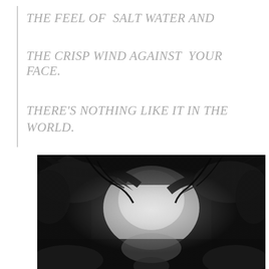THE FEEL OF  SALT WATER AND

THE CRISP WIND AGAINST  YOUR FACE.

THERE'S NOTHING LIKE IT IN THE WORLD.
[Figure (photo): Black and white photograph of a misty forest path with large overhanging trees creating a canopy, with bright light filtering through the center of the image.]